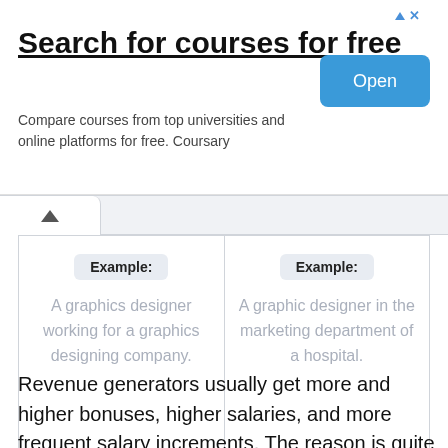[Figure (infographic): Advertisement banner for Coursary: 'Search for courses for free' with subtitle 'Compare courses from top universities and online platforms for free. Coursary' and an 'Open' button]
| Example: | Example: |
| --- | --- |
| A graphics designer working for a graphics designing company. | A graphic designer in the marketing department of a hospital. |
Revenue generators usually get more and higher bonuses, higher salaries, and more frequent salary increments. The reason is quite simple: it is easier to quantify your value to the company in monetary terms